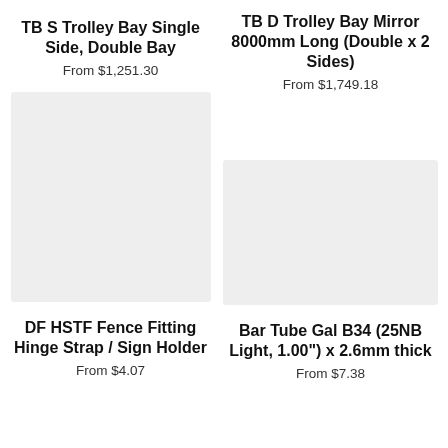TB S Trolley Bay Single Side, Double Bay
From $1,251.30
[Figure (photo): Product image placeholder (light gray rectangle)]
DF HSTF Fence Fitting Hinge Strap / Sign Holder
From $4.07
TB D Trolley Bay Mirror 8000mm Long (Double x 2 Sides)
From $1,749.18
[Figure (photo): Product image placeholder (light gray rectangle)]
Bar Tube Gal B34 (25NB Light, 1.00") x 2.6mm thick
From $7.38